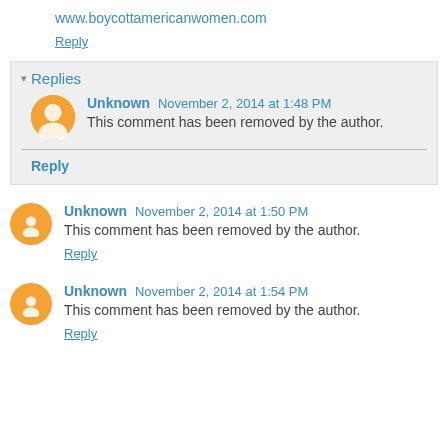www.boycottamericanwomen.com
Reply
Replies
Unknown  November 2, 2014 at 1:48 PM
This comment has been removed by the author.
Reply
Unknown  November 2, 2014 at 1:50 PM
This comment has been removed by the author.
Reply
Unknown  November 2, 2014 at 1:54 PM
This comment has been removed by the author.
Reply